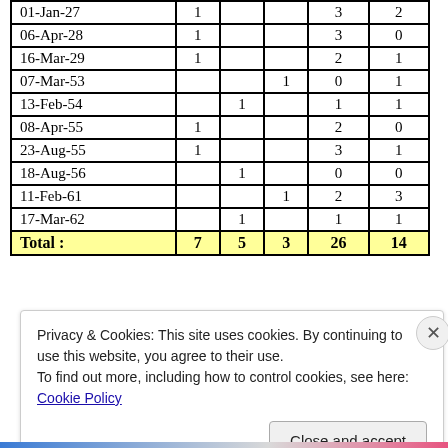| Date |  |  |  |  |  |
| --- | --- | --- | --- | --- | --- |
| 01-Jan-27 | 1 |  |  | 3 | 2 |
| 06-Apr-28 | 1 |  |  | 3 | 0 |
| 16-Mar-29 | 1 |  |  | 2 | 1 |
| 07-Mar-53 |  |  | 1 | 0 | 1 |
| 13-Feb-54 |  | 1 |  | 1 | 1 |
| 08-Apr-55 | 1 |  |  | 2 | 0 |
| 23-Aug-55 | 1 |  |  | 3 | 1 |
| 18-Aug-56 |  | 1 |  | 0 | 0 |
| 11-Feb-61 |  |  | 1 | 2 | 3 |
| 17-Mar-62 |  | 1 |  | 1 | 1 |
| Total : | 7 | 5 | 3 | 26 | 14 |
Privacy & Cookies: This site uses cookies. By continuing to use this website, you agree to their use.
To find out more, including how to control cookies, see here: Cookie Policy